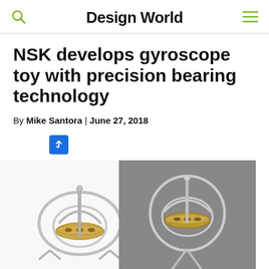Design World
NSK develops gyroscope toy with precision bearing technology
By Mike Santora | June 27, 2018
[Figure (photo): Two gyroscope toys — one on white background (left) and one on grey background (right) — showing metal precision bearing gyroscope devices with gold disc and silver frame.]